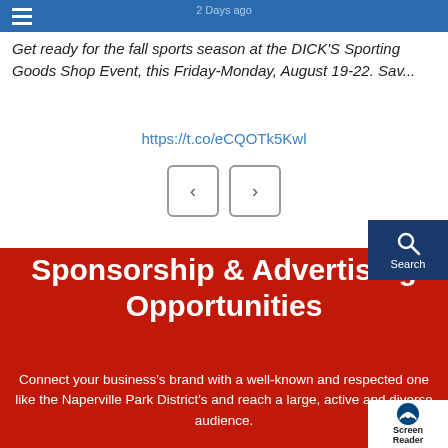2 Days ago
Get ready for the fall sports season at the DICK'S Sporting Goods Shop Event, this Friday-Monday, August 19-22. Sav...
https://t.co/eCQOTk5Kwl
[Figure (other): Navigation previous and next arrow buttons]
Sponsorship & Advertising Opportunities
Connect your business's brand with a well-known and respected one like the Naperville Park District's and reach a large, active and diverse audience.
[Figure (other): Screen Reader accessibility badge in bottom right corner]